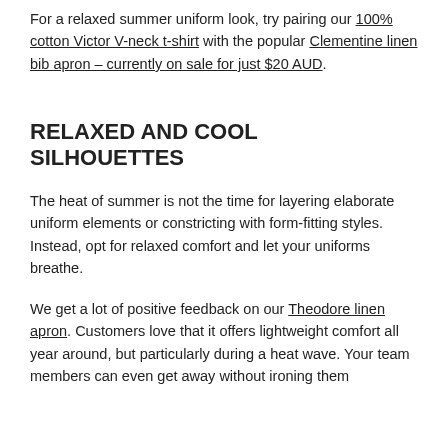For a relaxed summer uniform look, try pairing our 100% cotton Victor V-neck t-shirt with the popular Clementine linen bib apron – currently on sale for just $20 AUD.
RELAXED AND COOL SILHOUETTES
The heat of summer is not the time for layering elaborate uniform elements or constricting with form-fitting styles. Instead, opt for relaxed comfort and let your uniforms breathe.
We get a lot of positive feedback on our Theodore linen apron. Customers love that it offers lightweight comfort all year around, but particularly during a heat wave. Your team members can even get away without ironing them